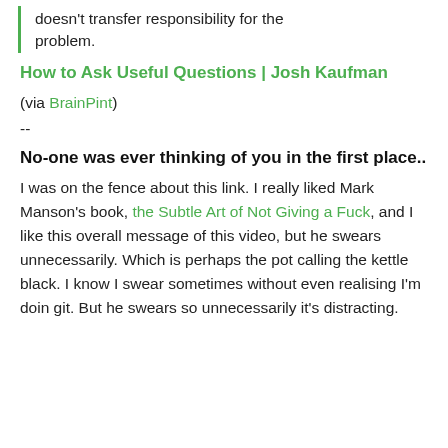doesn't transfer responsibility for the problem.
How to Ask Useful Questions | Josh Kaufman
(via BrainPint)
--
No-one was ever thinking of you in the first place..
I was on the fence about this link. I really liked Mark Manson's book, the Subtle Art of Not Giving a Fuck, and I like this overall message of this video, but he swears unnecessarily. Which is perhaps the pot calling the kettle black. I know I swear sometimes without even realising I'm doin git. But he swears so unnecessarily it's distracting.
...